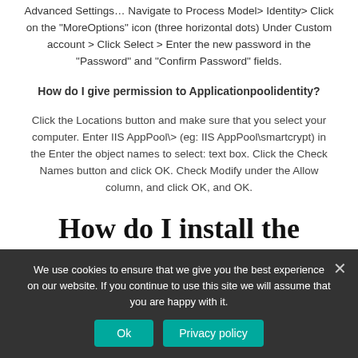Advanced Settings... Navigate to Process Model> Identity> Click on the "MoreOptions" icon (three horizontal dots) Under Custom account > Click Select > Enter the new password in the "Password" and "Confirm Password" fields.
How do I give permission to Applicationpoolidentity?
Click the Locations button and make sure that you select your computer. Enter IIS AppPool\> (eg: IIS AppPool\smartcrypt) in the Enter the object names to select: text box. Click the Check Names button and click OK. Check Modify under the Allow column, and click OK, and OK.
How do I install the latest version of PowerShell?
We use cookies to ensure that we give you the best experience on our website. If you continue to use this site we will assume that you are happy with it.